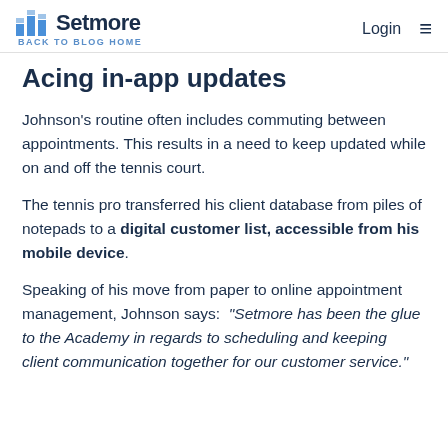Setmore | BACK TO BLOG HOME | Login
Acing in-app updates
Johnson's routine often includes commuting between appointments. This results in a need to keep updated while on and off the tennis court.
The tennis pro transferred his client database from piles of notepads to a digital customer list, accessible from his mobile device.
Speaking of his move from paper to online appointment management, Johnson says: “Setmore has been the glue to the Academy in regards to scheduling and keeping client communication together for our customer service.”